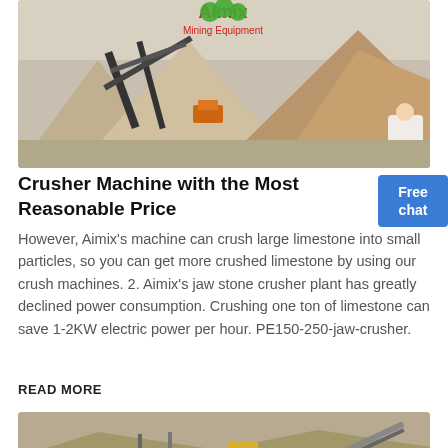[Figure (photo): Aerial view of a limestone quarry with crusher equipment, conveyor belts, and large piles of crushed stone. An Aimix Mining Equipment logo/banner is visible at the top. A person in white is visible at the bottom right.]
Crusher Machine with the Most Reasonable Price
However, Aimix's machine can crush large limestone into small particles, so you can get more crushed limestone by using our crush machines. 2. Aimix's jaw stone crusher plant has greatly declined power consumption. Crushing one ton of limestone can save 1-2KW electric power per hour. PE150-250-jaw-crusher.
READ MORE
[Figure (photo): A mining or quarry site showing heavy construction equipment including a bulldozer and conveyor systems on sandy terrain.]